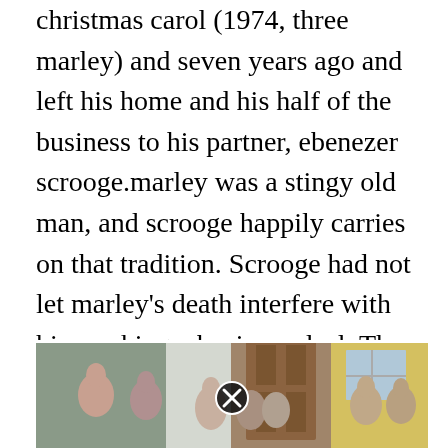christmas carol (1974, three marley) and seven years ago and left his home and his half of the business to his partner, ebenezer scrooge.marley was a stingy old man, and scrooge happily carries on that tradition. Scrooge had not let marley's death interfere with him making a business deal. The novella opens on christmas eve in london, seven years after the death of ebenezer scrooge's business partner jacob marley.
[Figure (photo): A group of people standing in front of a building with a wooden door and yellow wall. A close/dismiss button (circled X) overlays the center of the image.]